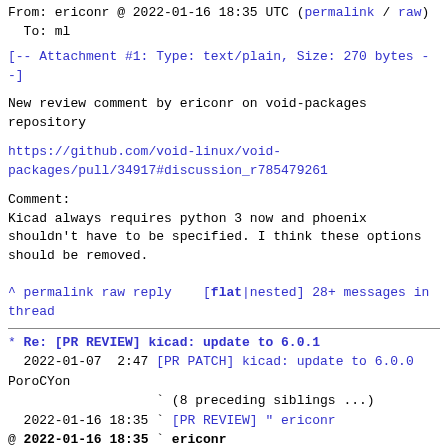From: ericonr @ 2022-01-16 18:35 UTC (permalink / raw)
  To: ml
[-- Attachment #1: Type: text/plain, Size: 270 bytes --]
New review comment by ericonr on void-packages repository
https://github.com/void-linux/void-packages/pull/34917#discussion_r785479261
Comment:
Kicad always requires python 3 now and phoenix shouldn't have to be specified. I think these options should be removed.
^ permalink raw reply   [flat|nested] 28+ messages in thread
* Re: [PR REVIEW] kicad: update to 6.0.1
  2022-01-07  2:47 [PR PATCH] kicad: update to 6.0.0 PoroCYon
                   ` (8 preceding siblings ...)
  2022-01-16 18:35 ` [PR REVIEW] " ericonr
@ 2022-01-16 18:35 ` ericonr
  2022-01-16 18:35 ` ericonr
                   ` (16 subsequent siblings)